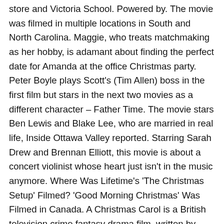store and Victoria School. Powered by. The movie was filmed in multiple locations in South and North Carolina. Maggie, who treats matchmaking as her hobby, is adamant about finding the perfect date for Amanda at the office Christmas party. Peter Boyle plays Scott's (Tim Allen) boss in the first film but stars in the next two movies as a different character – Father Time. The movie stars Ben Lewis and Blake Lee, who are married in real life, Inside Ottawa Valley reported. Starring Sarah Drew and Brennan Elliott, this movie is about a concert violinist whose heart just isn't in the music anymore. Where Was Lifetime's 'The Christmas Setup' Filmed? 'Good Morning Christmas' Was Filmed in Canada. A Christmas Carol is a British television crime fantasy drama film, written by Peter Bowker, that first broadcast on ITV on 20 December 2000. Christmas Harmony was shot in Los Angeles and is the feature film debut of its writer and director Nanea Miyata. She missed her connection, and Jonathan invites her to spend the holidays with them.", "When commitment-phobe Rob Marino  breaks up with his girlfriend before Thanksgiving, he is criticized by his big Italian family about his inability to keep a relationship through the